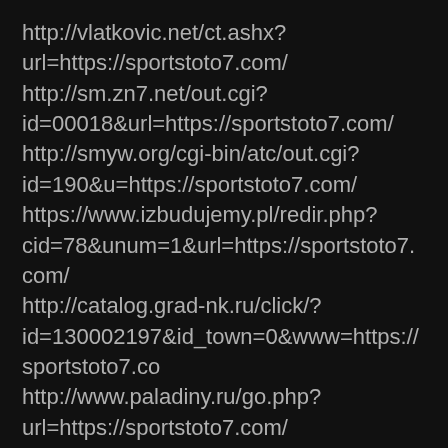http://vlatkovic.net/ct.ashx?
url=https://sportstoto7.com/
http://sm.zn7.net/out.cgi?
id=00018&url=https://sportstoto7.com/
http://smyw.org/cgi-bin/atc/out.cgi?
id=190&u=https://sportstoto7.com/
https://www.izbudujemy.pl/redir.php?
cid=78&unum=1&url=https://sportstoto7.com/
http://catalog.grad-nk.ru/click/?
id=130002197&id_town=0&www=https://sportstoto7.co
http://www.paladiny.ru/go.php?
url=https://sportstoto7.com/
https://www.tral.ru/images/get.php?
go=https://sportstoto7.com/
https://vrazvedka.ru/forum/go.php?
https://sportstoto7.com/
http://dsxm.caa.se/links.do?